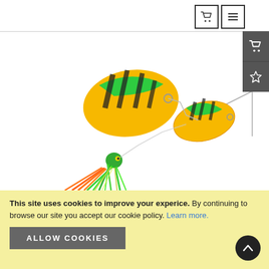[Figure (screenshot): Website header navigation bar with cart icon and hamburger menu icon buttons]
[Figure (photo): A fishing spinnerbait lure with green/orange/yellow tiger-striped willow blade spinners and a green, yellow, orange silicone skirt on a white background]
This site uses cookies to improve your experice. By continuing to browse our site you accept our cookie policy. Learn more.
[Figure (screenshot): An ALLOW COOKIES button (dark gray) and a scroll-to-top circular dark button with upward chevron]